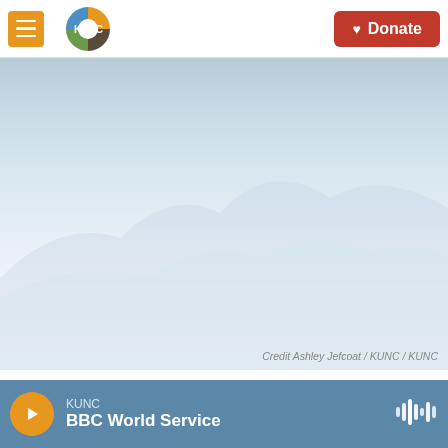KUNC — Donate
[Figure (photo): Hero image area with a light blue-grey gradient background suggesting a landscape/sky scene]
Credit Ashley Jefcoat / KUNC / KUNC
Detour
KUNC BBC World Service